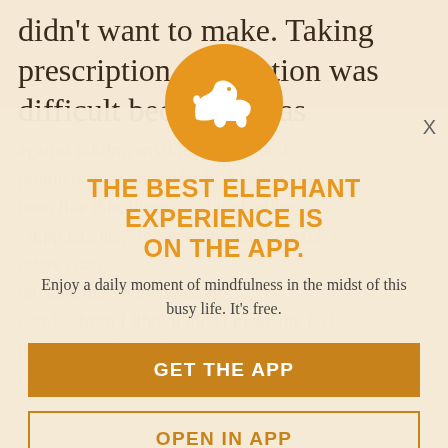didn't want to make. Taking prescription medication was difficult because I was
against putting anything but natural products in or on my body. I hadn't always been like this, though ... I took other "supplements," but with my partying days estate chan ... the idea that living without parole" from Lithium didn't make me feel healthy—in fact it felt like a setback. But I chose to take the medication
[Figure (logo): White elephant silhouette on an orange/golden circle background — Elephant Journal app logo]
THE BEST ELEPHANT EXPERIENCE IS ON THE APP.
Enjoy a daily moment of mindfulness in the midst of this busy life. It's free.
GET THE APP
OPEN IN APP